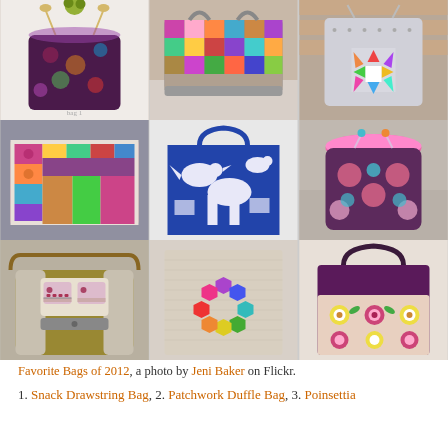[Figure (photo): 3x3 grid of 9 photos showing handmade fabric bags including drawstring bags, duffle bags, tote bags, quilted pouches, and shoulder bags in various colorful fabrics and patterns]
Favorite Bags of 2012, a photo by Jeni Baker on Flickr.
1. Snack Drawstring Bag, 2. Patchwork Duffle Bag, 3. Poinsettia